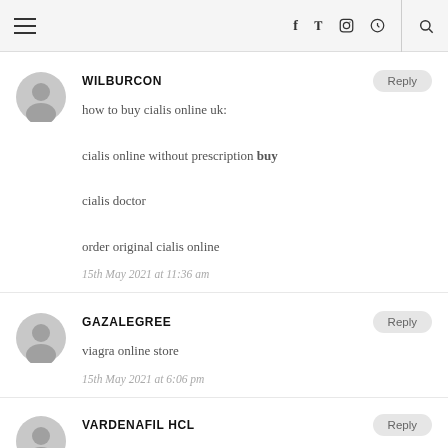Navigation header with hamburger menu, social icons (f, twitter, instagram, pinterest), and search icon
WILBURCON
how to buy cialis online uk:
cialis online without prescription buy
cialis doctor
order original cialis online
15th May 2021 at 11:36 am
GAZALEGREE
viagra online store
15th May 2021 at 6:06 pm
VARDENAFIL HCL